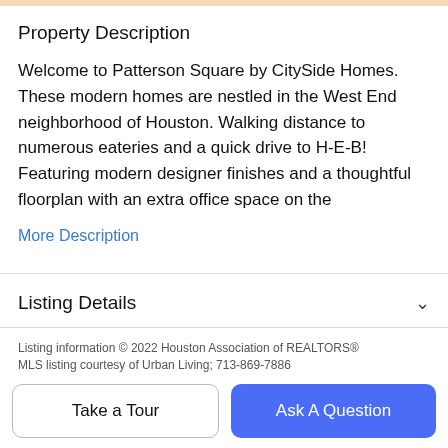Property Description
Welcome to Patterson Square by CitySide Homes. These modern homes are nestled in the West End neighborhood of Houston. Walking distance to numerous eateries and a quick drive to H-E-B! Featuring modern designer finishes and a thoughtful floorplan with an extra office space on the
More Description
Listing Details
Features & Amenities
Listing information © 2022 Houston Association of REALTORS® MLS listing courtesy of Urban Living; 713-869-7886
Take a Tour
Ask A Question